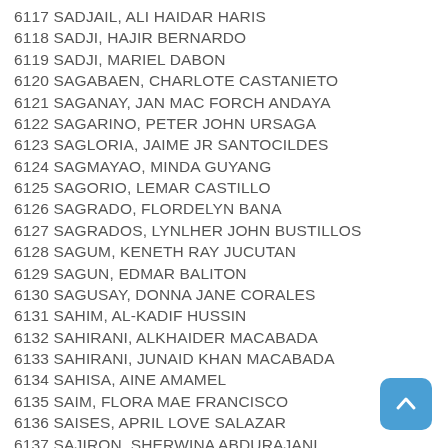6117 SADJAIL, ALI HAIDAR HARIS
6118 SADJI, HAJIR BERNARDO
6119 SADJI, MARIEL DABON
6120 SAGABAEN, CHARLOTE CASTANIETO
6121 SAGANAY, JAN MAC FORCH ANDAYA
6122 SAGARINO, PETER JOHN URSAGA
6123 SAGLORIA, JAIME JR SANTOCILDES
6124 SAGMAYAO, MINDA GUYANG
6125 SAGORIO, LEMAR CASTILLO
6126 SAGRADO, FLORDELYN BANA
6127 SAGRADOS, LYNLHER JOHN BUSTILLOS
6128 SAGUM, KENETH RAY JUCUTAN
6129 SAGUN, EDMAR BALITON
6130 SAGUSAY, DONNA JANE CORALES
6131 SAHIM, AL-KADIF HUSSIN
6132 SAHIRANI, ALKHAIDER MACABADA
6133 SAHIRANI, JUNAID KHAN MACABADA
6134 SAHISA, AINE AMAMEL
6135 SAIM, FLORA MAE FRANCISCO
6136 SAISES, APRIL LOVE SALAZAR
6137 SAJIRON, SHERWINA ABDURAJANI